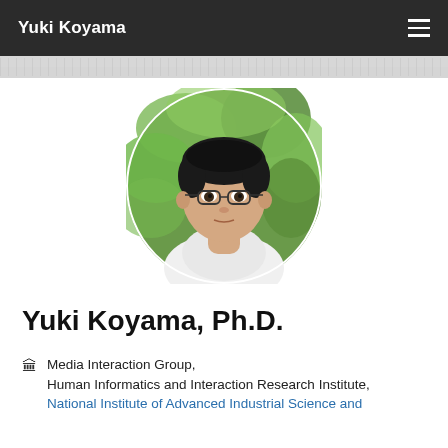Yuki Koyama
[Figure (photo): Circular profile photo of Yuki Koyama, a young Japanese man wearing glasses and a white shirt, with green foliage in the background]
Yuki Koyama, Ph.D.
🏛 Media Interaction Group,
Human Informatics and Interaction Research Institute,
National Institute of Advanced Industrial Science and Technology (AIST)